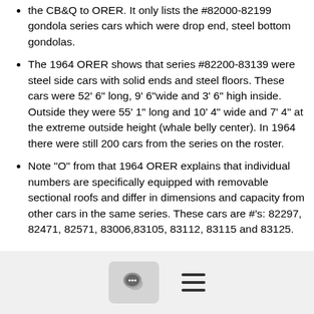the CB&Q to ORER.  It only lists the #82000-82199 gondola series cars which were drop end, steel bottom gondolas.
The 1964 ORER shows that series #82200-83139 were steel side cars with solid ends and steel floors.  These cars were 52' 6" long, 9' 6"wide and 3' 6" high inside.  Outside they were 55' 1" long and 10' 4" wide and 7' 4" at the extreme outside height (whale belly center).  In 1964 there were still 200 cars from the series on the roster.
Note "O" from that 1964 ORER explains that individual numbers are specifically equipped with removable sectional roofs and differ in dimensions and capacity from other cars in the same series.  These cars are #'s: 82297, 82471, 82571, 83006,83105, 83112, 83115 and 83125.
For photos I found one of a well used CB&Q  #82253 by Dan Holbrook taken at Congress Park along the "Q" triple track main line in Mike Spoor's book CB&O Color Guide to Freight and